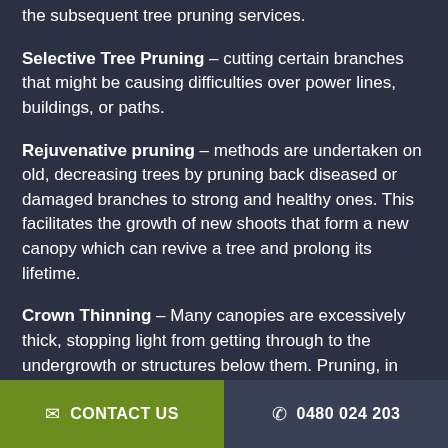the subsequent tree pruning services.
Selective Tree Pruning – cutting certain branches that might be causing difficulties over power lines, buildings, or paths.
Rejuvenative pruning – methods are undertaken on old, decreasing trees by pruning back diseased or damaged branches to strong and healthy ones. This facilitates the growth of new shoots that form a new canopy which can revive a tree and prolong its lifetime.
Crown Thinning – Many canopies are excessively thick, stopping light from getting through to the undergrowth or structures below them. Pruning, in this case, reduces the crown by removing smaller branches to allow light in and enhance air circulation.
✉ CONTACT US   ✆ 0480 024 203